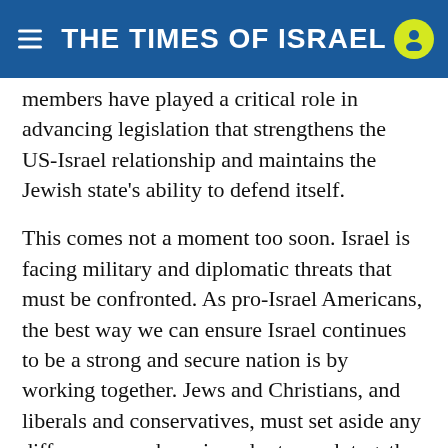THE TIMES OF ISRAEL
members have played a critical role in advancing legislation that strengthens the US-Israel relationship and maintains the Jewish state's ability to defend itself.
This comes not a moment too soon. Israel is facing military and diplomatic threats that must be confronted. As pro-Israel Americans, the best way we can ensure Israel continues to be a strong and secure nation is by working together. Jews and Christians, and liberals and conservatives, must set aside any differences we have in order to work together in support of the issues on which we agree.
This is an imperative. We need not agree on